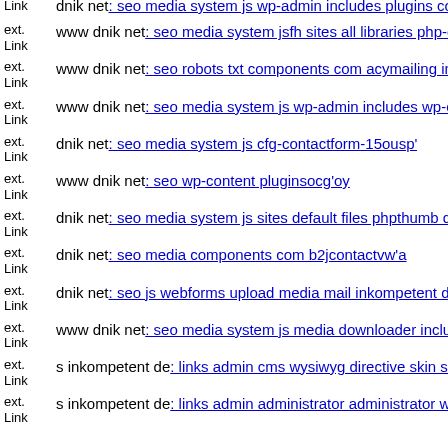ext. Link dnik net: seo media system js wp-admin includes plugins conte...
ext. Link www dnik net: seo media system jsfh sites all libraries php-cur...
ext. Link www dnik net: seo robots txt components com acymailing inc o...
ext. Link www dnik net: seo media system js wp-admin includes wp-con...
ext. Link dnik net: seo media system js cfg-contactform-15ousp'
ext. Link www dnik net: seo wp-content pluginsocg'oy
ext. Link dnik net: seo media system js sites default files phpthumb dnik...
ext. Link dnik net: seo media components com b2jcontactvw'a
ext. Link dnik net: seo js webforms upload media mail inkompetent de
ext. Link www dnik net: seo media system js media downloader includes...
ext. Link s inkompetent de: links admin cms wysiwyg directive skin ski...
ext. Link s inkompetent de: links admin administrator administrator wp-c...